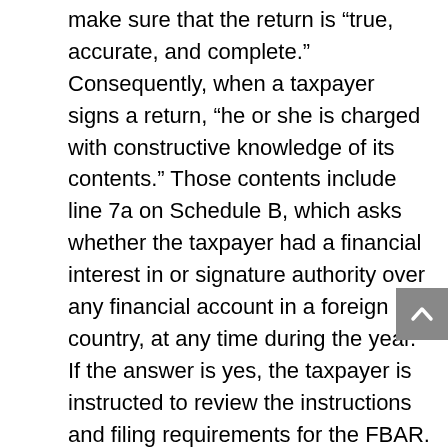make sure that the return is “true, accurate, and complete.” Consequently, when a taxpayer signs a return, “he or she is charged with constructive knowledge of its contents.” Those contents include line 7a on Schedule B, which asks whether the taxpayer had a financial interest in or signature authority over any financial account in a foreign country, at any time during the year. If the answer is yes, the taxpayer is instructed to review the instructions and filing requirements for the FBAR. Williams testified at trial that he had not read line 7a of Schedule B or “paid attention to any of the written words.”
Citing the United States Supreme Court case of Safeco Insurance Co. of America v. Burr, the Williams court also noted that “[w]here willfulness is a statutory condition of civil liability, it is generally taken to cover not only